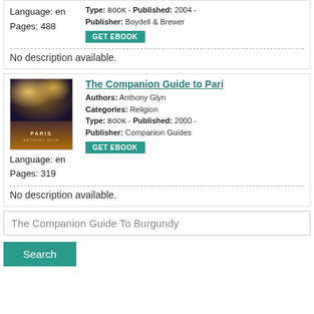Language: en
Pages: 488
Type: BOOK - Published: 2004 - Publisher: Boydell & Brewer
GET EBOOK
No description available.
[Figure (photo): Book cover for The Companion Guide to Paris showing a nighttime bridge scene in Paris with golden lamp posts]
The Companion Guide to Pari
Authors: Anthony Glyn
Categories: Religion
Type: BOOK - Published: 2000 - Publisher: Companion Guides
GET EBOOK
Language: en
Pages: 319
No description available.
The Companion Guide To Burgundy
Search